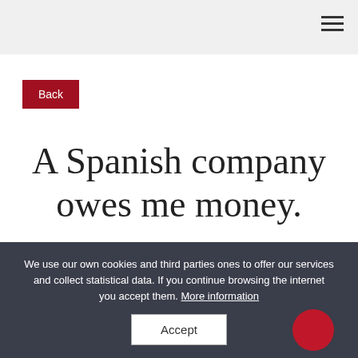Back
A Spanish company owes me money.
We use our own cookies and third parties ones to offer our services and collect statistical data. If you continue browsing the internet you accept them. More information
Accept